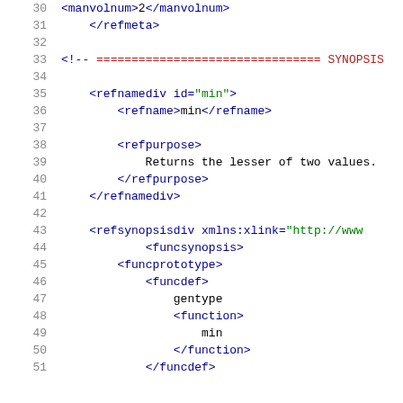[Figure (screenshot): Source code viewer showing XML/DocBook markup, lines 30-51, with syntax highlighting: line numbers in gray, XML tags in dark blue, attribute values in green, comments in dark red, plain text in black.]